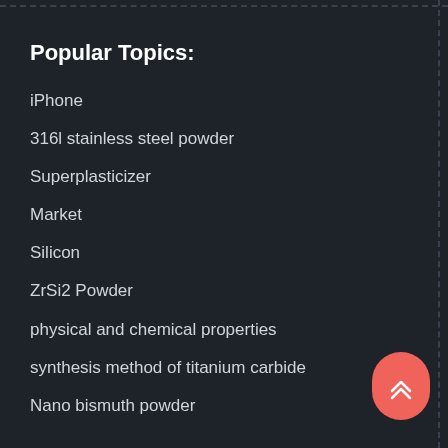Popular Topics:
iPhone
316l stainless steel powder
Superplasticizer
Market
Silicon
ZrSi2 Powder
physical and chemical properties
synthesis method of titanium carbide
Nano bismuth powder